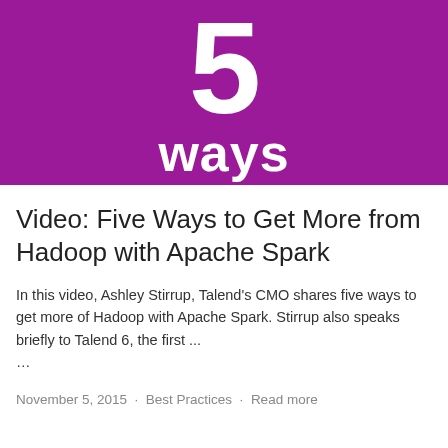[Figure (illustration): Purple/magenta background with large white numeral '5' and the word 'ways' in white bold text below it]
Video: Five Ways to Get More from Hadoop with Apache Spark
In this video, Ashley Stirrup, Talend's CMO shares five ways to get more of Hadoop with Apache Spark. Stirrup also speaks briefly to Talend 6, the first ...
November 5, 2015 · Best Practices · Read more